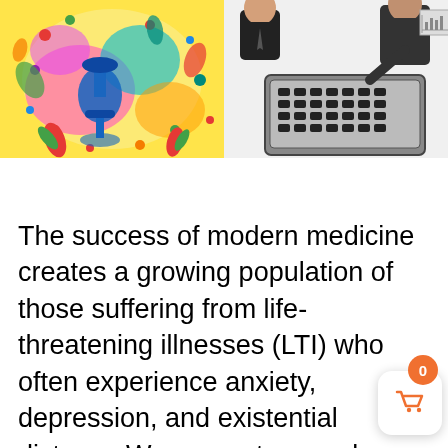[Figure (illustration): Two side-by-side illustrations: left side is a colorful abstract/psychedelic artwork with bright colors (yellows, reds, blues, greens) showing organic shapes, plants, and abstract figures. Right side is a black-and-white illustration of two businessmen in suits at a desk with what appears to be a sample case or briefcase open between them.]
The success of modern medicine creates a growing population of those suffering from life-threatening illnesses (LTI) who often experience anxiety, depression, and existential distress. We present a novel approach, investigating MDMA-assisted psychotherapy for the treatment of anxiety in people with an LTI. Participants with